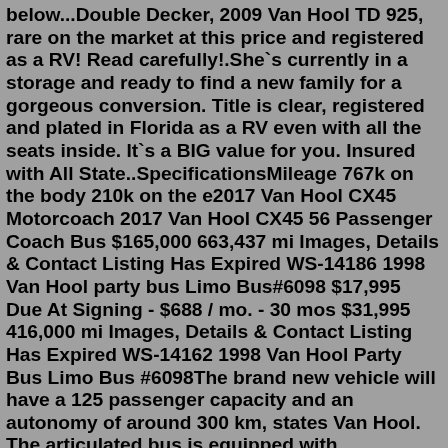below...Double Decker, 2009 Van Hool TD 925, rare on the market at this price and registered as a RV! Read carefully!.She`s currently in a storage and ready to find a new family for a gorgeous conversion. Title is clear, registered and plated in Florida as a RV even with all the seats inside. It`s a BIG value for you. Insured with All State..SpecificationsMileage 767k on the body 210k on the e2017 Van Hool CX45 Motorcoach 2017 Van Hool CX45 56 Passenger Coach Bus $165,000 663,437 mi Images, Details & Contact Listing Has Expired WS-14186 1998 Van Hool party bus Limo Bus#6098 $17,995 Due At Signing - $688 / mo. - 30 mos $31,995 416,000 mi Images, Details & Contact Listing Has Expired WS-14162 1998 Van Hool Party Bus Limo Bus #6098The brand new vehicle will have a 125 passenger capacity and an autonomy of around 300 km, states Van Hool. The articulated bus is equipped with FCveloCity-HD 100-kilowatt fuel cell engine realized by Ballard . The total value of this contract is €13.5 million, of which €7 million has already been acquired through regional